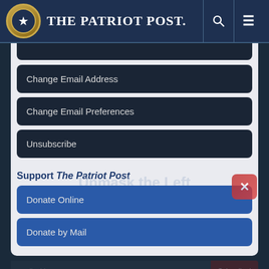The Patriot Post
Change Email Address
Change Email Preferences
Unsubscribe
Support The Patriot Post
Donate Online
Donate by Mail
FAQ / Contact Us / Terms of Use / Privacy Policy
★ PUBLIUS ★